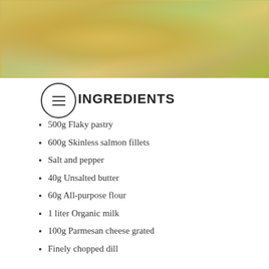[Figure (photo): Blurred food photo showing what appears to be a pastry or pie dish on a plate, with yellow-green tones]
INGREDIENTS
500g Flaky pastry
600g Skinless salmon fillets
Salt and pepper
40g Unsalted butter
60g All-purpose flour
1 liter Organic milk
100g Parmesan cheese grated
Finely chopped dill